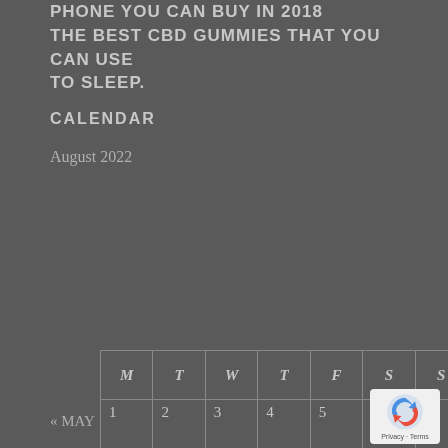PHONE YOU CAN BUY IN 2018 THE BEST CBD GUMMIES THAT YOU CAN USE TO SLEEP.
CALENDAR
August 2022
| M | T | W | T | F | S | S |
| --- | --- | --- | --- | --- | --- | --- |
| 1 | 2 | 3 | 4 | 5 | 6 | 7 |
| 8 | 9 | 10 | 11 | 12 | 13 | 14 |
| 15 | 16 | 17 | 18 | 19 | 20 | 21 |
| 22 | 23 | 24 | 25 | 26 | 27 | 28 |
| 29 | 30 | 31 |  |  |  |  |
« MAY